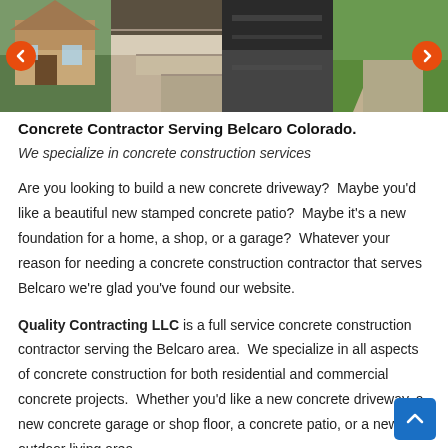[Figure (photo): Photo strip showing four construction/concrete images: a house exterior, concrete steps, dark wet concrete, and a concrete path with grass. Navigation arrows on left and right.]
Concrete Contractor Serving Belcaro Colorado.
We specialize in concrete construction services
Are you looking to build a new concrete driveway?  Maybe you'd like a beautiful new stamped concrete patio?  Maybe it's a new foundation for a home, a shop, or a garage?  Whatever your reason for needing a concrete construction contractor that serves Belcaro we're glad you've found our website.
Quality Contracting LLC is a full service concrete construction contractor serving the Belcaro area.  We specialize in all aspects of concrete construction for both residential and commercial concrete projects.  Whether you'd like a new concrete driveway, a new concrete garage or shop floor, a concrete patio, or a new outdoor living area